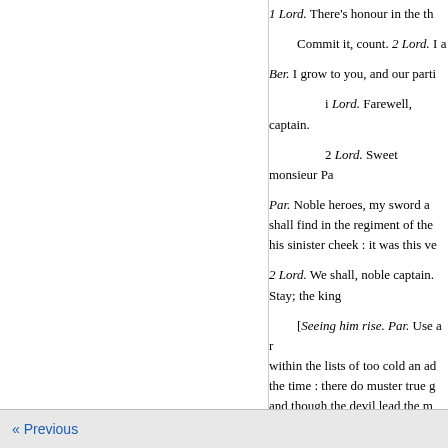1 Lord. There's honour in the th Commit it, count. 2 Lord. I a Ber. I grow to you, and our parti i Lord. Farewell, captain. 2 Lord. Sweet monsieur Pa Par. Noble heroes, my sword a shall find in the regiment of the his sinister cheek : it was this ve 2 Lord. We shall, noble captain. Stay; the king [Seeing him rise. Par. Use a r within the lists of too cold an ad the time : there do muster true g and though the devil lead the m farewell. Ber. And I will do so. you do?
« Previous